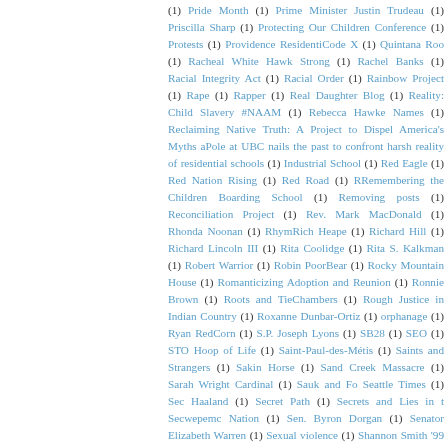(1) Pride Month (1) Prime Minister Justin Trudeau (1) Priscilla Sharp (1) Protecting Our Children Conference (1) Protests (1) Providence Residential Code X (1) Quintana Roo (1) Racheal White Hawk Strong (1) Rachel Banks (1) Racial Integrity Act (1) Racial Order (1) Rainbow Project (1) Rape (1) Rapper (1) Real Daughter Blog (1) Reality: Child Slavery #NAAM (1) Rebecca Hawke Names (1) Reclaiming Native Truth: A Project to Dispel America's Myths and Pole at UBC nails the past to confront harsh reality of residential schools (1) Industrial School (1) Red Eagle (1) Red Nation Rising (1) Red Road (1) Remembering the Children Boarding School (1) Removing posts (1) Reconciliation Project (1) Rev. Mark MacDonald (1) Rhonda Noonan (1) Rhyme Rich Heape (1) Richard Hill (1) Richard Lincoln III (1) Rita Coolidge (1) Rita S. Kalkman (1) Robert Warrior (1) Robin PoorBear (1) Rocky Mountain House (1) Romanticizing Adoption and Reunion (1) Ronnie Brown (1) Roots and Ties Chambers (1) Rough Justice in Indian Country (1) Roxanne Dunbar-Ortiz (1) orphanage (1) Ryan RedCorn (1) S.P. Joseph Lyons (1) SB28 (1) SEO (1) STO Hoop of Life (1) Saint-Paul-des-Métis (1) Saints and Strangers (1) Sakin Horse (1) Sand Creek Massacre (1) Sarah Wright Cardinal (1) Sauk and Fo Seattle Times (1) Sec Haaland (1) Secret Path (1) Secrets and Lies in t Secwepemc Nation (1) Sen. Byron Dorgan (1) Senator Elizabeth Warren (1) Sexual violence (1) Shannon Smith '99 (1) Share Your OCS Story (1) Shawne Star (1) Sheila Pelletier (1) Shelf Unbound (1) Shelter (1) Sherman Institute ( Treppa (1) Sheryl Crow (1) Sheshegwaning First Nation adoptee (1) Shingwa People say to adoptees (1) Shubenacadie Indian Residential School (1) Sil Children's Village (1) Sioux Valley Dakota (1) Sir John A.'s Hostages (1) Sister Bands of Ojibwe (1) Sixties Scoop Healing Foundation (1) Sixties Scoop Indi